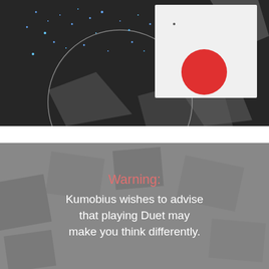[Figure (screenshot): Game screenshot of Duet game showing a dark background with scattered blue/cyan dots forming star-like patterns, a large circle outline, geometric grey shapes, and a white square card in the upper right containing a small dot and a large red circle.]
[Figure (screenshot): Dark grey background with semi-transparent geometric rectangle shapes overlaid. Contains warning text in coral/red color reading 'Warning:' and white text reading 'Kumobius wishes to advise that playing Duet may make you think differently.']